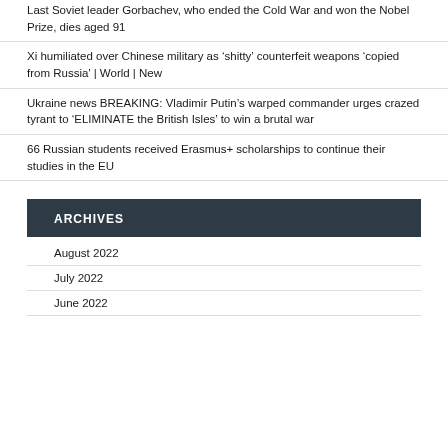Last Soviet leader Gorbachev, who ended the Cold War and won the Nobel Prize, dies aged 91
Xi humiliated over Chinese military as ‘shitty’ counterfeit weapons ‘copied from Russia’ | World | New
Ukraine news BREAKING: Vladimir Putin’s warped commander urges crazed tyrant to ‘ELIMINATE the British Isles’ to win a brutal war
66 Russian students received Erasmus+ scholarships to continue their studies in the EU
ARCHIVES
August 2022
July 2022
June 2022